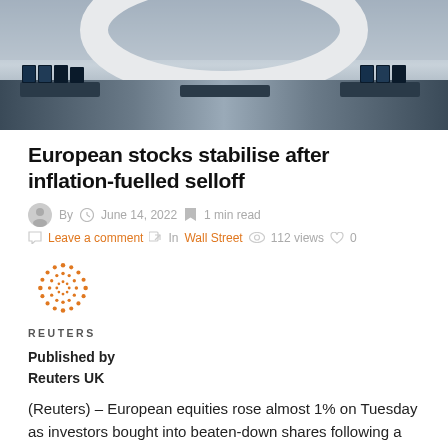[Figure (photo): Interior of a stock exchange trading floor with a large circular white structure and multiple monitor screens]
European stocks stabilise after inflation-fuelled selloff
By  June 14, 2022  1 min read
Leave a comment  In Wall Street  112 views  0
[Figure (logo): Reuters orange dotted globe logo with REUTERS text below]
Published by
Reuters UK
(Reuters) – European equities rose almost 1% on Tuesday as investors bought into beaten-down shares following a bruising selloff in the previous session on worries over